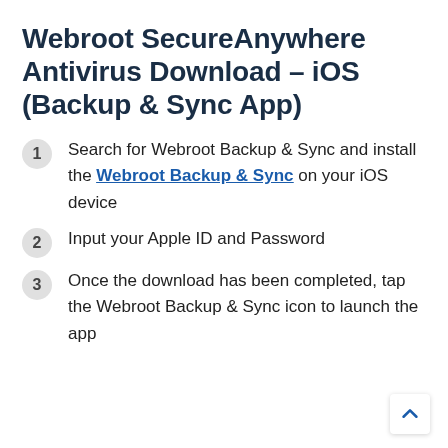Webroot SecureAnywhere Antivirus Download – iOS (Backup & Sync App)
Search for Webroot Backup & Sync and install the Webroot Backup & Sync on your iOS device
Input your Apple ID and Password
Once the download has been completed, tap the Webroot Backup & Sync icon to launch the app